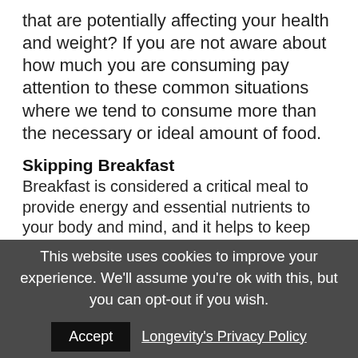that are potentially affecting your health and weight? If you are not aware about how much you are consuming pay attention to these common situations where we tend to consume more than the necessary or ideal amount of food.
Skipping Breakfast
Breakfast is considered a critical meal to provide energy and essential nutrients to your body and mind, and it helps to keep your weight off. Not eating breakfast means you will likely eat more later.
Multitasking
Eating while working, talking on the phone or watching a movie can make you lose track of how much you are eating, particularly if your food is not on a plate. Watch for busy and stressful days as they could be impacting both the quality
This website uses cookies to improve your experience. We'll assume you're ok with this, but you can opt-out if you wish. Accept Longevity's Privacy Policy